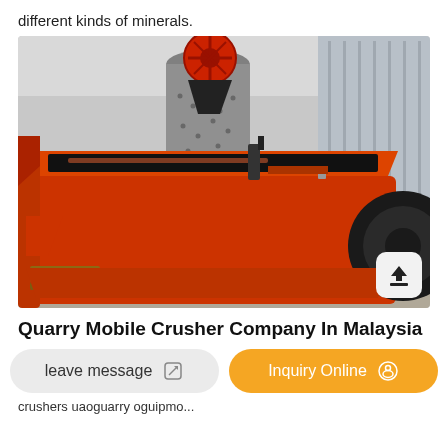different kinds of minerals.
[Figure (photo): Large orange industrial flotation or crushing machine in a factory setting. The machine has a large orange body with black interior sections, a cylindrical grey column, red wheel/pulley mechanism at top, and black industrial wheels visible at sides.]
Quarry Mobile Crusher Company In Malaysia
leave message
Inquiry Online
crushers uaoguarry oguipmo...